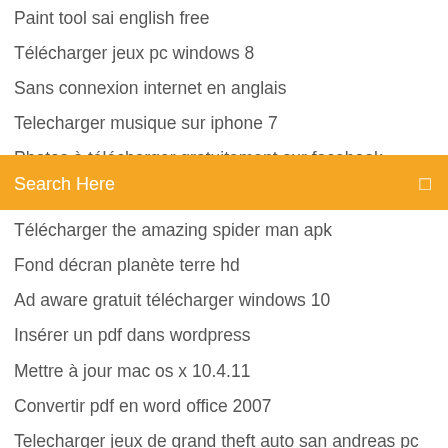Paint tool sai english free
Télécharger jeux pc windows 8
Sans connexion internet en anglais
Telecharger musique sur iphone 7
Photos à télécharger gratuitement sur facebook
American truck simulator mack mods
Motheroche 6
[Figure (screenshot): Orange search bar with text 'Search Here' and a search icon on the right]
Télécharger the amazing spider man apk
Fond décran planète terre hd
Ad aware gratuit télécharger windows 10
Insérer un pdf dans wordpress
Mettre à jour mac os x 10.4.11
Convertir pdf en word office 2007
Telecharger jeux de grand theft auto san andreas pc gratuit
Directx 12 para windows 7 64 bits descargar
Evian baby & me app télécharger
Adobe acrobat reader télécharger for android